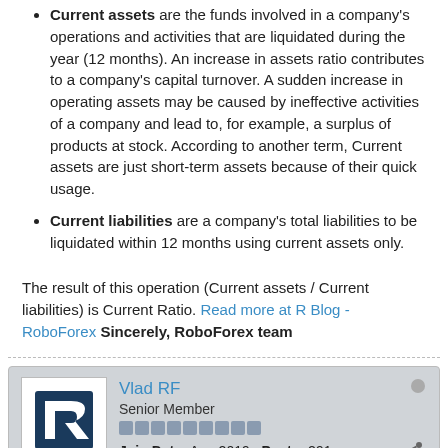Current assets are the funds involved in a company's operations and activities that are liquidated during the year (12 months). An increase in assets ratio contributes to a company's capital turnover. A sudden increase in operating assets may be caused by ineffective activities of a company and lead to, for example, a surplus of products at stock. According to another term, Current assets are just short-term assets because of their quick usage.
Current liabilities are a company's total liabilities to be liquidated within 12 months using current assets only.
The result of this operation (Current assets / Current liabilities) is Current Ratio. Read more at R Blog - RoboForex Sincerely, RoboForex team
Vlad RF
Senior Member
Join Date: Aug 2019  Posts: 291